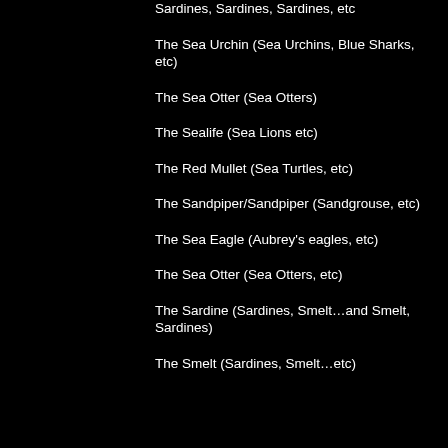Sardines, Sardines, Sardines, etc
The Sea Urchin (Sea Urchins, Blue Sharks, etc)
The Sea Otter (Sea Otters)
The Sealife (Sea Lions etc)
The Red Mullet (Sea Turtles, etc)
The Sandpiper/Sandpiper (Sandgrouse, etc)
The Sea Eagle (Aubrey's eagles, etc)
The Sea Otter (Sea Otters, etc)
The Sardine (Sardines, Smelt…and Smelt, Sardines)
The Smelt (Sardines, Smelt…etc)